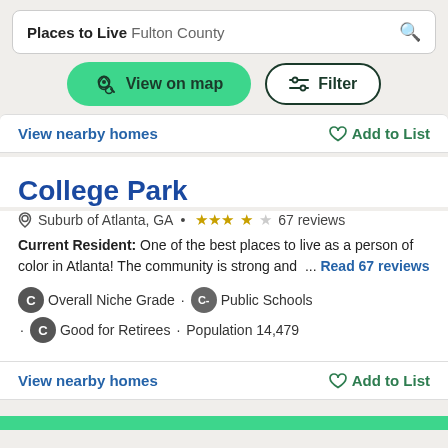Places to Live Fulton County
[Figure (screenshot): View on map button (green pill button) and Filter button (outlined pill button)]
View nearby homes   ♡ Add to List
College Park
Suburb of Atlanta, GA • ★★★★☆ 67 reviews
Current Resident: One of the best places to live as a person of color in Atlanta! The community is strong and  ... Read 67 reviews
C Overall Niche Grade · C- Public Schools · C Good for Retirees · Population 14,479
View nearby homes   ♡ Add to List